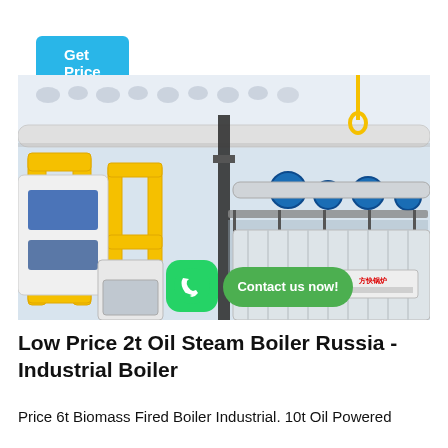Get Price
[Figure (photo): Industrial boiler facility showing yellow pipe frames, blue machinery, valves and piping systems in a large manufacturing space. WhatsApp contact icon and 'Contact us now!' green button overlaid.]
Low Price 2t Oil Steam Boiler Russia - Industrial Boiler
Price 6t Biomass Fired Boiler Industrial. 10t Oil Powered